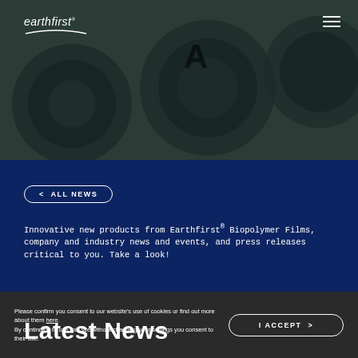[Figure (photo): Dark hero image showing industrial rolls/machinery in dark green-grey tones with overlay]
Latest News
< ALL NEWS
Innovative new products from Earthfirst® Biopolymer Films, company and industry news and events, and press releases critical to you. Take a look!
PSI NEWS
Please confirm you consent to our website's use of cookies or find out more about them here. By continuing to use this site without changing your settings you consent to their use.
I ACCEPT >